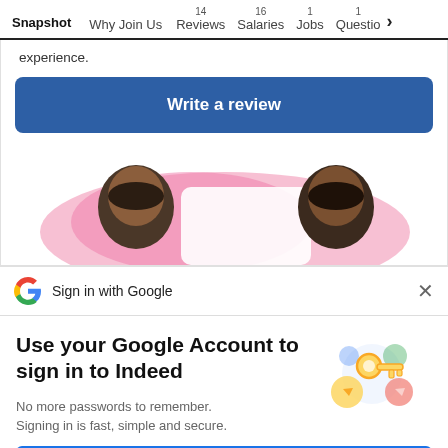Snapshot  Why Join Us  14 Reviews  16 Salaries  1 Jobs  1 Questio >
experience.
Write a review
[Figure (illustration): Two people looking at each other with pink background shapes — illustration]
Sign in with Google
Use your Google Account to sign in to Indeed
No more passwords to remember.
Signing in is fast, simple and secure.
[Figure (illustration): Google sign-in illustration with a key and colorful circular shapes]
Continue